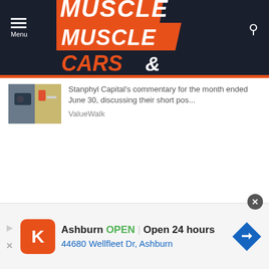[Figure (logo): Muscle Cars & Trucks website logo on dark navy header background]
Stanphyl Capital's commentary for the month ended June 30, discussing their short pos...
ValueWalk
[Figure (screenshot): Ad banner: Ashburn OPEN | Open 24 hours, 44680 Wellfleet Dr, Ashburn, with Krispy Kreme logo and navigation diamond icon]